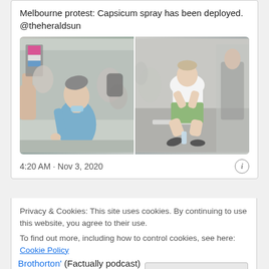Melbourne protest: Capsicum spray has been deployed. @theheraldsun
[Figure (photo): Two side-by-side photos from a protest. Left: a man in a blue shirt with his face up, apparently affected by capsicum spray, surrounded by a crowd. Right: a young man in a white t-shirt and green shorts crouching on the street, also affected by spray, with people around him.]
4:20 AM · Nov 3, 2020
Privacy & Cookies: This site uses cookies. By continuing to use this website, you agree to their use.
To find out more, including how to control cookies, see here: Cookie Policy
Close and accept
Brothorton' (Factually podcast)